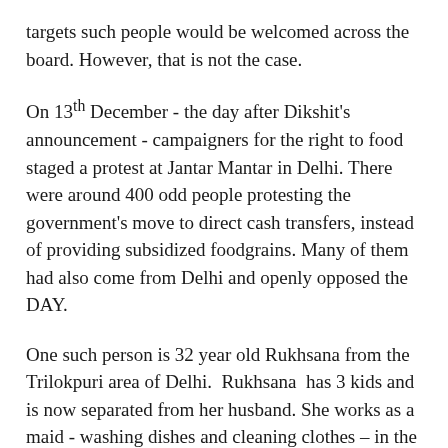targets such people would be welcomed across the board. However, that is not the case.
On 13th December - the day after Dikshit's announcement - campaigners for the right to food staged a protest at Jantar Mantar in Delhi. There were around 400 odd people protesting the government's move to direct cash transfers, instead of providing subsidized foodgrains. Many of them had also come from Delhi and openly opposed the DAY.
One such person is 32 year old Rukhsana from the Trilokpuri area of Delhi. Rukhsana has 3 kids and is now separated from her husband. She works as a maid - washing dishes and cleaning clothes – in the nearby residential colony and earns around Rs 3500 per month – that is Rs 117 per day. However, she does not receive a